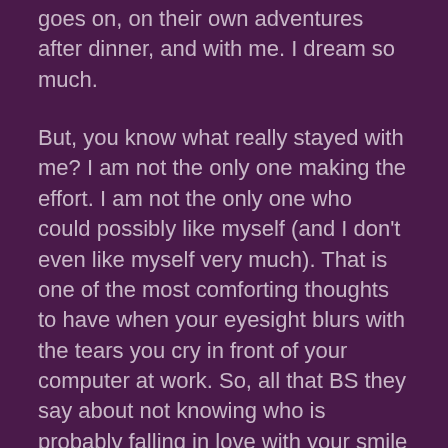goes on, on their own adventures after dinner, and with me. I dream so much.
But, you know what really stayed with me? I am not the only one making the effort. I am not the only one who could possibly like myself (and I don't even like myself very much). That is one of the most comforting thoughts to have when your eyesight blurs with the tears you cry in front of your computer at work. So, all that BS they say about not knowing who is probably falling in love with your smile is probably real.For two seconds, it will feel just like that. I promise.
Till the next time I can get myself to make the effort to dress up, wear my lipstick, flip my hair and adjust my top for a boy — I will just get back to work and try really hard to not think of my Sunshine.